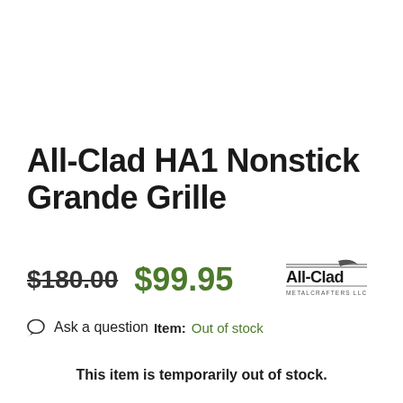All-Clad HA1 Nonstick Grande Grille
$180.00  $99.95
[Figure (logo): All-Clad Metalcrafters LLC logo — text and stylized pan graphic]
💬 Ask a question  Item: Out of stock
This item is temporarily out of stock.